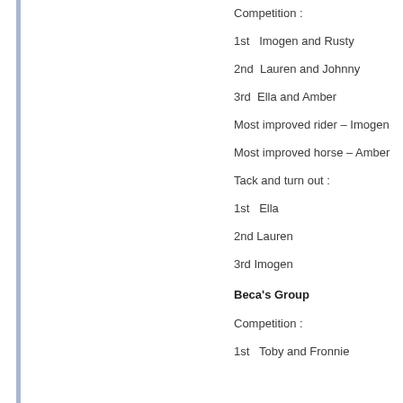Competition :
1st   Imogen and Rusty
2nd  Lauren and Johnny
3rd  Ella and Amber
Most improved rider – Imogen
Most improved horse – Amber
Tack and turn out :
1st  Ella
2nd Lauren
3rd Imogen
Beca's Group
Competition :
1st   Toby and Fronnie